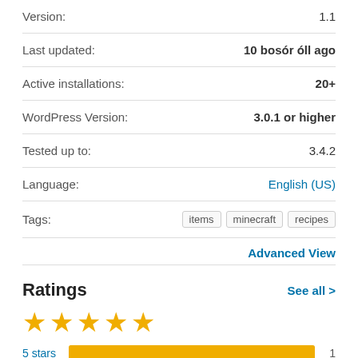| Property | Value |
| --- | --- |
| Version: | 1.1 |
| Last updated: | 10 bosór óll ago |
| Active installations: | 20+ |
| WordPress Version: | 3.0.1 or higher |
| Tested up to: | 3.4.2 |
| Language: | English (US) |
| Tags: | items  minecraft  recipes |
Advanced View
Ratings
See all >
[Figure (other): 5 gold stars rating display]
[Figure (bar-chart): Ratings breakdown]